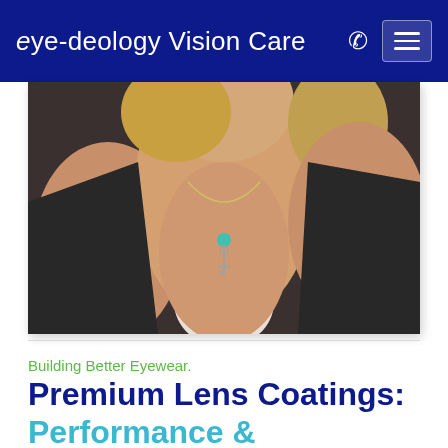eye-deology Vision Care
[Figure (photo): Close-up photo of a woman wearing a black jacket and silver necklace with a teal pendant, hands raised near her head, possibly trying on or adjusting eyewear]
Building Better Eyewear.
Premium Lens Coatings: Performance & Protection